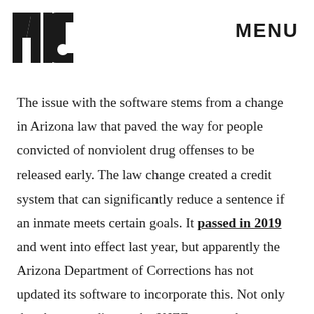[Figure (logo): MIC logo in bold black block letters]
MENU
The issue with the software stems from a change in Arizona law that paved the way for people convicted of nonviolent drug offenses to be released early. The law change created a credit system that can significantly reduce a sentence if an inmate meets certain goals. It passed in 2019 and went into effect last year, but apparently the Arizona Department of Corrections has not updated its software to incorporate this. Not only that, but according to the KJZZ report, the state agency has been aware that it